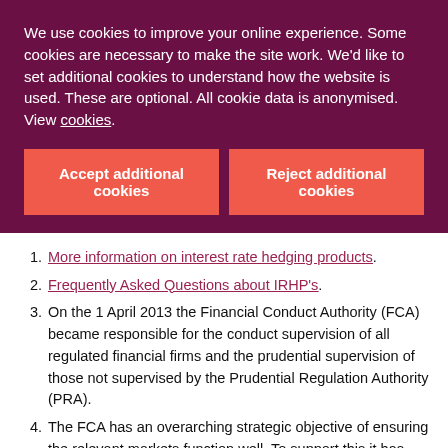We use cookies to improve your online experience. Some cookies are necessary to make the site work. We'd like to set additional cookies to understand how the website is used. These are optional. All cookie data is anonymised. View cookies.
Accept additional cookies
Reject additional cookies
More information on interest rate hedging products.
Frequently Asked Questions about IRHP's.
On the 1 April 2013 the Financial Conduct Authority (FCA) became responsible for the conduct supervision of all regulated financial firms and the prudential supervision of those not supervised by the Prudential Regulation Authority (PRA).
The FCA has an overarching strategic objective of ensuring the relevant markets function well. To support this it has three operational objectives: to secure an appropriate degree of protection for consumers; to protect and enhance the integrity of the UK financial system; and to promote effective competition